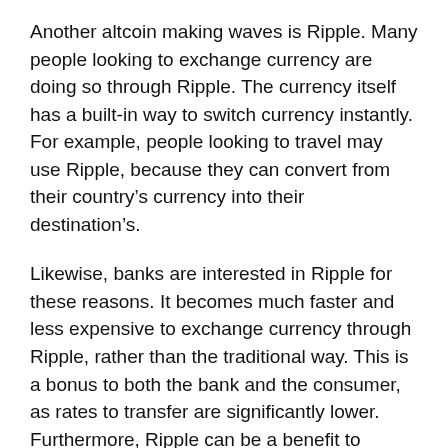Another altcoin making waves is Ripple. Many people looking to exchange currency are doing so through Ripple. The currency itself has a built-in way to switch currency instantly. For example, people looking to travel may use Ripple, because they can convert from their country's currency into their destination's.
Likewise, banks are interested in Ripple for these reasons. It becomes much faster and less expensive to exchange currency through Ripple, rather than the traditional way. This is a bonus to both the bank and the consumer, as rates to transfer are significantly lower. Furthermore, Ripple can be a benefit to overseas merchants, and may eliminate excess fees for foreign buyers. This one factor is why I think we can expect to see Ripple adopted on a broader level than Bitcoin or Litecoin.